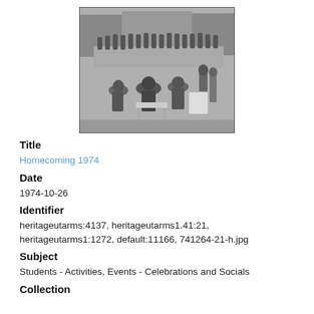[Figure (photo): Black and white photograph of a Homecoming 1974 event. A large group of people on a stage or elevated area in the background, with audience members seated and standing in the foreground, viewed from behind. Buildings visible in the background.]
Title
Homecoming 1974
Date
1974-10-26
Identifier
heritageutarms:4137, heritageutarms1.41:21, heritageutarms1:1272, default:11166, 741264-21-h.jpg
Subject
Students - Activities, Events - Celebrations and Socials
Collection